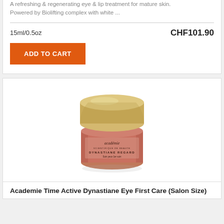A refreshing & regenerating eye & lip treatment for mature skin. Powered by Biolifting complex with white ...
15ml/0.5oz
CHF101.90
ADD TO CART
[Figure (photo): Academie Dynastiane Regard cream jar with gold lid and pink body, showing the product label]
Academie Time Active Dynastiane Eye First Care (Salon Size)